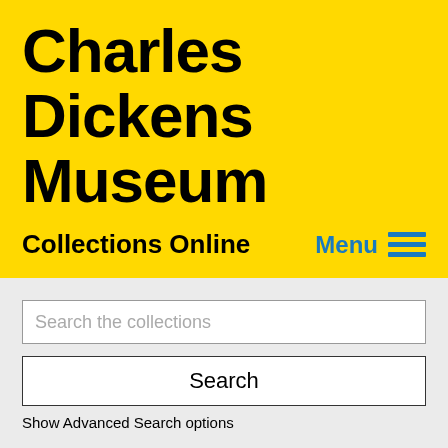Charles Dickens Museum
Collections Online
Menu
Search the collections
Search
Show Advanced Search options